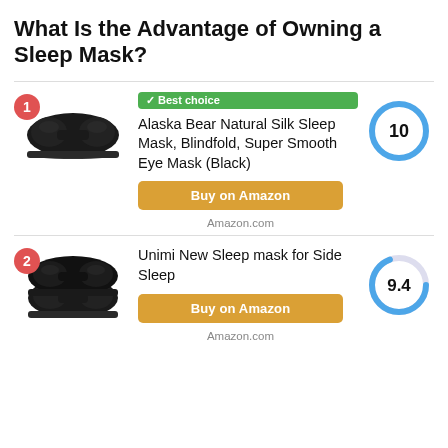What Is the Advantage of Owning a Sleep Mask?
[Figure (infographic): Product listing #1: Alaska Bear Natural Silk Sleep Mask, Blindfold, Super Smooth Eye Mask (Black) with score 10 and Best Choice badge]
[Figure (infographic): Product listing #2: Unimi New Sleep mask for Side Sleep with score 9.4]